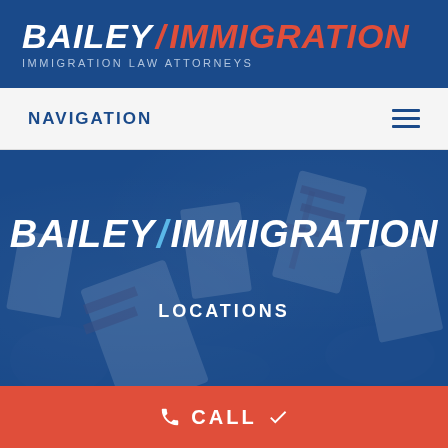[Figure (logo): Bailey/Immigration law firm logo with white 'BAILEY/' text and red 'IMMIGRATION' text on dark blue background, with subtitle 'IMMIGRATION LAW ATTORNEYS']
NAVIGATION
[Figure (screenshot): Hero section with dark blue background showing flag imagery overlay, large bold white italic text 'BAILEY / IMMIGRATION']
LOCATIONS
CALL